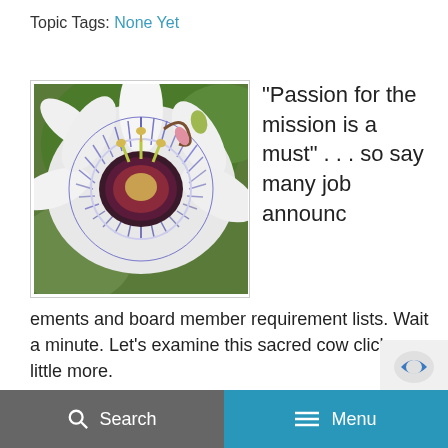Topic Tags: None Yet
[Figure (photo): Close-up photograph of a passionflower with purple and white petals and yellow-green stamens against green foliage background]
“Passion for the mission is a must” . . . so say many job announcements and board member requirement lists. Wait a minute. Let’s examine this sacred cow cliche a little more.
Search   Menu